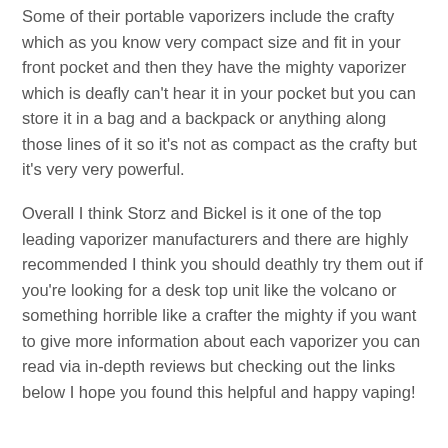Some of their portable vaporizers include the crafty which as you know very compact size and fit in your front pocket and then they have the mighty vaporizer which is deafly can't hear it in your pocket but you can store it in a bag and a backpack or anything along those lines of it so it's not as compact as the crafty but it's very very powerful.
Overall I think Storz and Bickel is it one of the top leading vaporizer manufacturers and there are highly recommended I think you should deathly try them out if you're looking for a desk top unit like the volcano or something horrible like a crafter the mighty if you want to give more information about each vaporizer you can read via in-depth reviews but checking out the links below I hope you found this helpful and happy vaping!